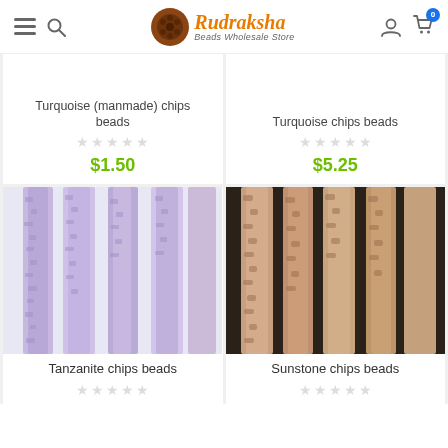Rudraksha Beads Wholesale Store
Turquoise (manmade) chips beads
$1.50
Turquoise chips beads
$5.25
[Figure (photo): Strands of purple/lavender tanzanite chip beads against white background]
Tanzanite chips beads
[Figure (photo): Strands of peach/brown sunstone chip beads against dark background]
Sunstone chips beads